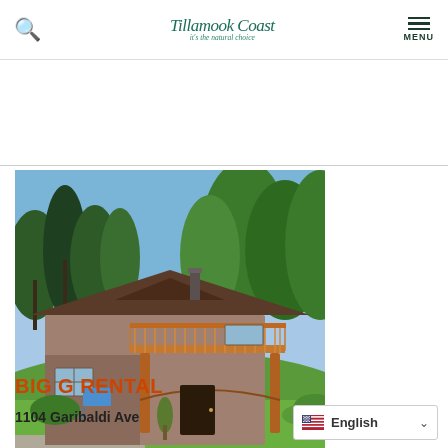Tillamook Coast - it's the natural choice
[Figure (photo): Two-story vacation rental house with wooden deck/balcony on upper level supported by timber posts, brown siding, green lawn in front, surrounded by tall evergreen and deciduous trees under blue sky]
BIG G RENTAL
1104 Garibaldi Ave